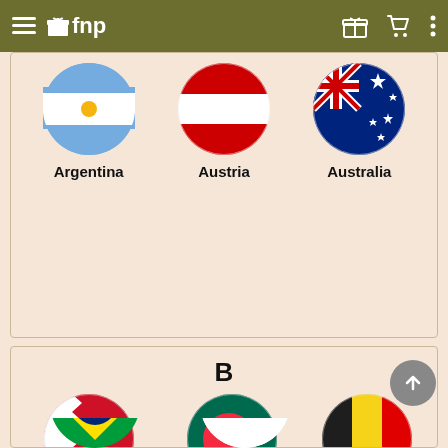≡ 🎁fnp
[Figure (illustration): Country flags section showing Argentina, Austria, Australia with circular flag icons]
Argentina
Austria
Australia
B
[Figure (illustration): Bahrain flag: circular, white with red serrated pattern]
Bahrain
[Figure (illustration): Bangladesh flag: circular, dark green with red circle]
Bangladesh
[Figure (illustration): Belgium flag: circular, black, yellow, and red vertical stripes]
Belgium
[Figure (illustration): Brazil flag: partially visible circular flag at bottom, green with yellow diamond and blue circle]
[Figure (illustration): Partially visible flag at bottom right]